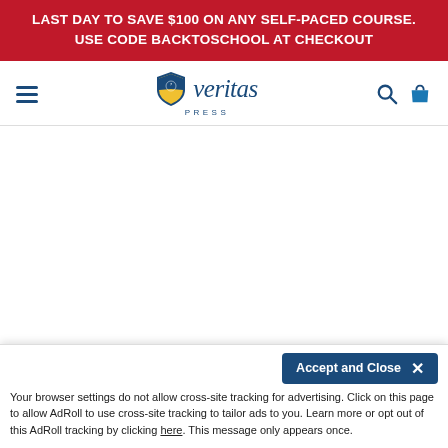LAST DAY TO SAVE $100 ON ANY SELF-PACED COURSE. USE CODE BACKTOSCHOOL AT CHECKOUT
[Figure (logo): Veritas Press logo with shield icon, hamburger menu, search icon, and shopping bag icon in navigation bar]
[Figure (logo): Veritas Press large logo with shield icon at bottom of page]
Accept and Close ×
Your browser settings do not allow cross-site tracking for advertising. Click on this page to allow AdRoll to use cross-site tracking to tailor ads to you. Learn more or opt out of this AdRoll tracking by clicking here. This message only appears once.